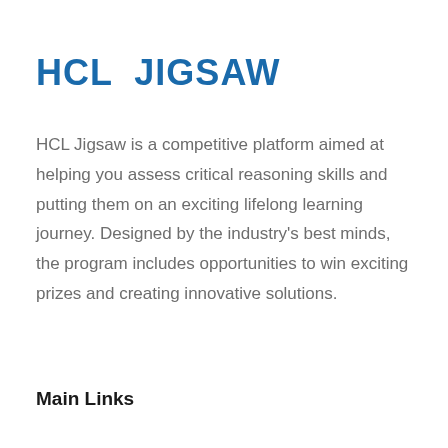HCL JIGSAW
HCL Jigsaw is a competitive platform aimed at helping you assess critical reasoning skills and putting them on an exciting lifelong learning journey. Designed by the industry’s best minds, the program includes opportunities to win exciting prizes and creating innovative solutions.
Main Links